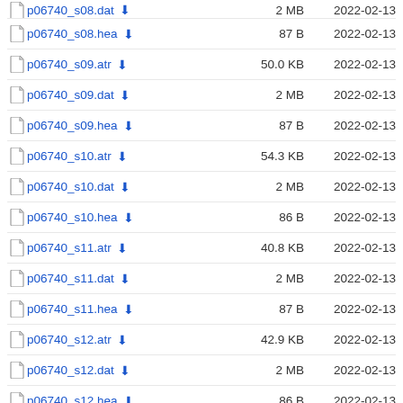p06740_s08.dat  2 MB  2022-02-13
p06740_s08.hea  87 B  2022-02-13
p06740_s09.atr  50.0 KB  2022-02-13
p06740_s09.dat  2 MB  2022-02-13
p06740_s09.hea  87 B  2022-02-13
p06740_s10.atr  54.3 KB  2022-02-13
p06740_s10.dat  2 MB  2022-02-13
p06740_s10.hea  86 B  2022-02-13
p06740_s11.atr  40.8 KB  2022-02-13
p06740_s11.dat  2 MB  2022-02-13
p06740_s11.hea  87 B  2022-02-13
p06740_s12.atr  42.9 KB  2022-02-13
p06740_s12.dat  2 MB  2022-02-13
p06740_s12.hea  86 B  2022-02-13